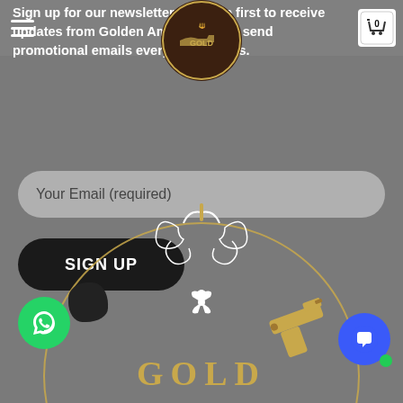Sign up for our newsletter to be the first to receive updates from Golden Ammo, we just send promotional emails every few months.
Your Email (required)
SIGN UP
[Figure (logo): Golden Ammo logo with gold circular design, ornate scrollwork, a gold handgun, and the text GOLD at the bottom on a dark brown background]